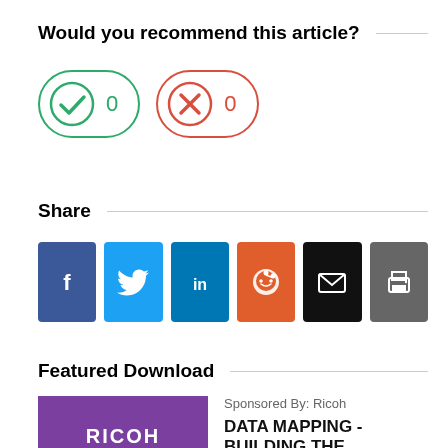Would you recommend this article?
[Figure (infographic): Two voting toggle buttons: a green checkmark button with count 0, and a red X button with count 0]
Share
[Figure (infographic): Row of six social sharing icon buttons: Facebook (blue), Twitter (light blue), LinkedIn (dark blue), Reddit (orange), Email (black), Print (gray)]
Featured Download
[Figure (logo): Ricoh purple branded image with RICOH imagine. change. text and Data preview text]
Sponsored By: Ricoh
DATA MAPPING - BUILDING THE